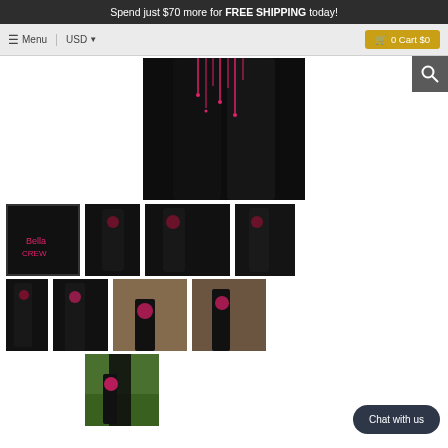Spend just $70 more for FREE SHIPPING today!
[Figure (screenshot): E-commerce website screenshot showing black leggings with pink floral/drip design. Navigation bar with Menu, USD, and Cart $0 button. Large main product image at top showing close-up of black leggings with pink dripping design. Below are multiple thumbnail views of the leggings from different angles, including close-up shots and outdoor lifestyle photos of a woman wearing the leggings. A 'Chat with us' button appears at bottom right.]